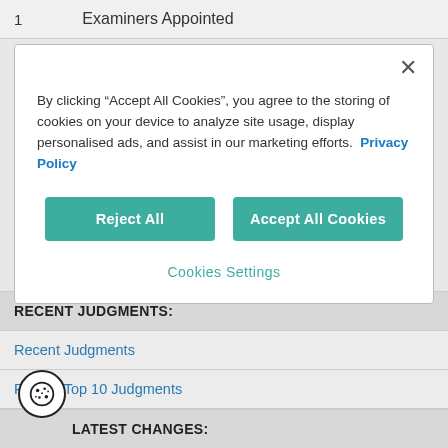1   Examiners Appointed
By clicking “Accept All Cookies”, you agree to the storing of cookies on your device to analyze site usage, display personalised ads, and assist in our marketing efforts.  Privacy Policy
RECENT JUDGMENTS:
Recent Judgments
Recent Top 10 Judgments
LATEST CHANGES: